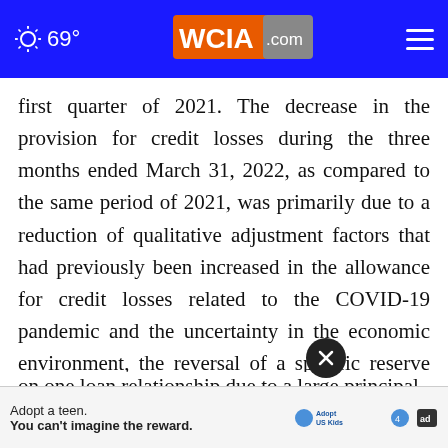69° WCIA.com
first quarter of 2021. The decrease in the provision for credit losses during the three months ended March 31, 2022, as compared to the same period of 2021, was primarily due to a reduction of qualitative adjustment factors that had previously been increased in the allowance for credit losses related to the COVID-19 pandemic and the uncertainty in the economic environment, the reversal of a specific reserve on one loan relationship due to a large principal curta… and